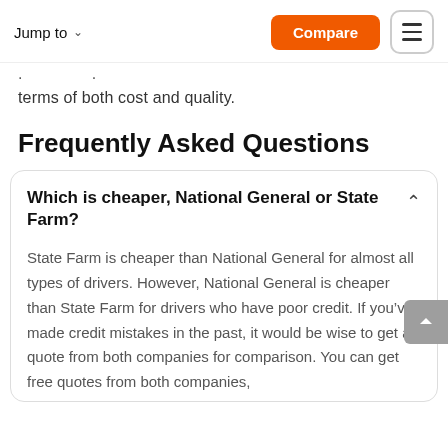Jump to  Compare
terms of both cost and quality.
Frequently Asked Questions
Which is cheaper, National General or State Farm?
State Farm is cheaper than National General for almost all types of drivers. However, National General is cheaper than State Farm for drivers who have poor credit. If you’ve made credit mistakes in the past, it would be wise to get a quote from both companies for comparison. You can get free quotes from both companies,